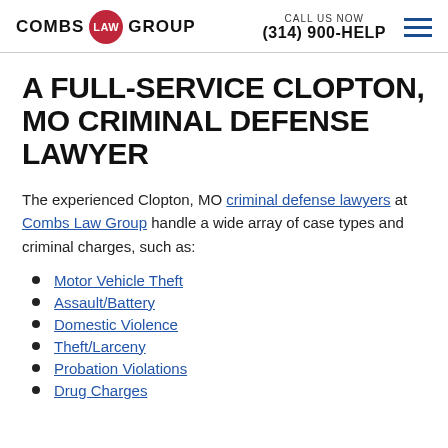COMBS LAW GROUP | CALL US NOW (314) 900-HELP
A FULL-SERVICE CLOPTON, MO CRIMINAL DEFENSE LAWYER
The experienced Clopton, MO criminal defense lawyers at Combs Law Group handle a wide array of case types and criminal charges, such as:
Motor Vehicle Theft
Assault/Battery
Domestic Violence
Theft/Larceny
Probation Violations
Drug Charges